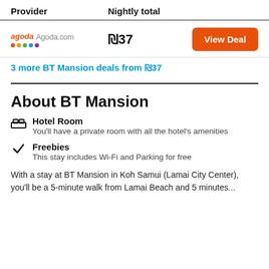| Provider | Nightly total |  |
| --- | --- | --- |
| Agoda.com | ₪37 | View Deal |
3 more BT Mansion deals from ₪37
About BT Mansion
Hotel Room — You'll have a private room with all the hotel's amenities
Freebies — This stay includes Wi-Fi and Parking for free
With a stay at BT Mansion in Koh Samui (Lamai City Center), you'll be a 5-minute walk from Lamai Beach and 5 minutes...